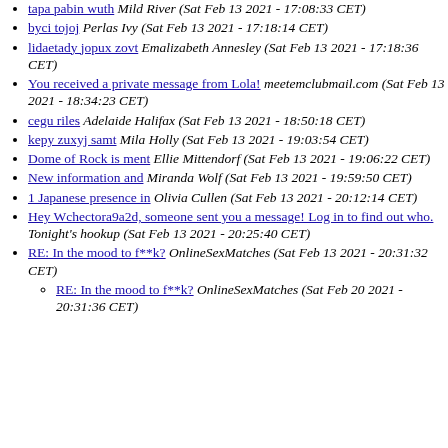tapa pabin wuth Mild River (Sat Feb 13 2021 - 17:08:33 CET)
byci tojoj Perlas Ivy (Sat Feb 13 2021 - 17:18:14 CET)
lidaetady jopux zovt Emalizabeth Annesley (Sat Feb 13 2021 - 17:18:36 CET)
You received a private message from Lola! meetemclubmail.com (Sat Feb 13 2021 - 18:34:23 CET)
cegu riles Adelaide Halifax (Sat Feb 13 2021 - 18:50:18 CET)
kepy zuxyj samt Mila Holly (Sat Feb 13 2021 - 19:03:54 CET)
Dome of Rock is ment Ellie Mittendorf (Sat Feb 13 2021 - 19:06:22 CET)
New information and Miranda Wolf (Sat Feb 13 2021 - 19:59:50 CET)
1 Japanese presence in Olivia Cullen (Sat Feb 13 2021 - 20:12:14 CET)
Hey Wchectora9a2d, someone sent you a message! Log in to find out who. Tonight's hookup (Sat Feb 13 2021 - 20:25:40 CET)
RE: In the mood to f**k? OnlineSexMatches (Sat Feb 13 2021 - 20:31:32 CET)
RE: In the mood to f**k? OnlineSexMatches (Sat Feb 20 2021 - 20:31:36 CET)